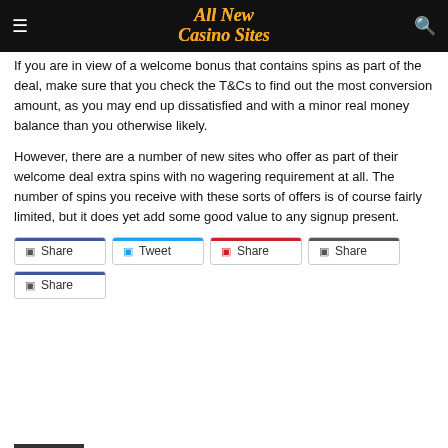All New Casino Sites
If you are in view of a welcome bonus that contains spins as part of the deal, make sure that you check the T&Cs to find out the most conversion amount, as you may end up dissatisfied and with a minor real money balance than you otherwise likely.
However, there are a number of new sites who offer as part of their welcome deal extra spins with no wagering requirement at all. The number of spins you receive with these sorts of offers is of course fairly limited, but it does yet add some good value to any signup present.
Share  Tweet  Share  Share  Share